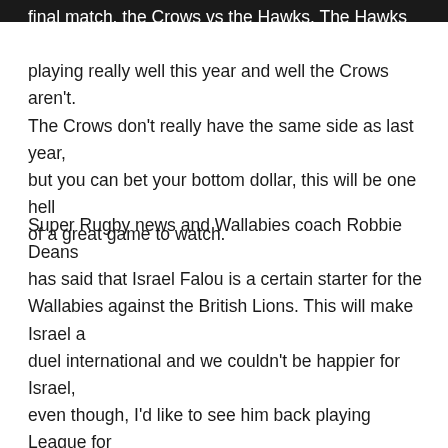final match, the Crows vs the Hawks. The Hawks are playing really well this year and well the Crows aren't. The Crows don't really have the same side as last year, but you can bet your bottom dollar, this will be one hell of a great game to watch.
Super Rugby news and Wallabies coach Robbie Deans has said that Israel Falou is a certain starter for the Wallabies against the British Lions. This will make Israel a duel international and we couldn't be happier for Israel, even though, I'd like to see him back playing League for the Storm again. In other news, Kurtley Beale is set to make his come back against the Chiefs this Friday night for the Rebels. Good Luck Kurtley, we are hoping you have a blinder.